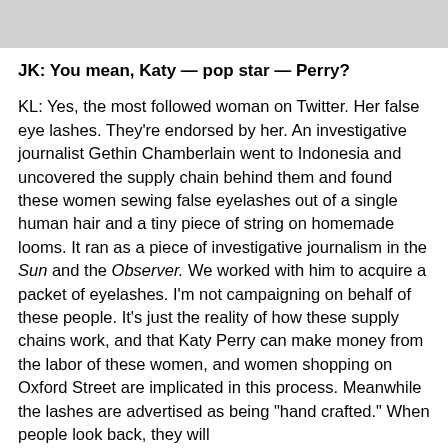[Figure (photo): Partial photo at top of page, cropped — shows bottom portion of an image, mostly light/white tones.]
JK: You mean, Katy — pop star — Perry?
KL: Yes, the most followed woman on Twitter. Her false eye lashes. They're endorsed by her. An investigative journalist Gethin Chamberlain went to Indonesia and uncovered the supply chain behind them and found these women sewing false eyelashes out of a single human hair and a tiny piece of string on homemade looms. It ran as a piece of investigative journalism in the Sun and the Observer. We worked with him to acquire a packet of eyelashes. I'm not campaigning on behalf of these people. It's just the reality of how these supply chains work, and that Katy Perry can make money from the labor of these women, and women shopping on Oxford Street are implicated in this process. Meanwhile the lashes are advertised as being "hand crafted." When people look back, they will